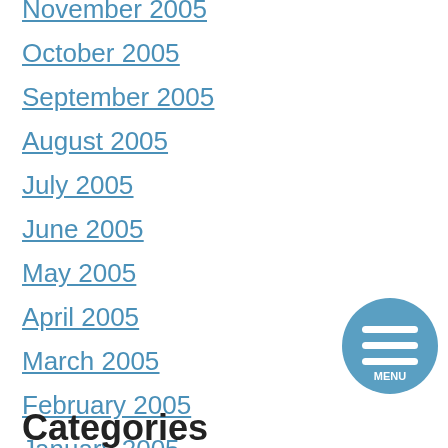November 2005
October 2005
September 2005
August 2005
July 2005
June 2005
May 2005
April 2005
March 2005
February 2005
January 2005
[Figure (illustration): Blue circular menu button with three horizontal white lines and MENU text]
Categories